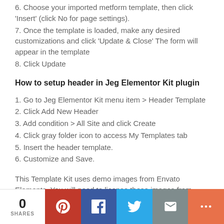6. Choose your imported metform template, then click 'Insert' (click No for page settings).
7. Once the template is loaded, make any desired customizations and click 'Update & Close' The form will appear in the template
8. Click Update
How to setup header in Jeg Elementor Kit plugin
1. Go to Jeg Elementor Kit menu item > Header Template
2. Click Add New Header
3. Add condition > All Site and click Create
4. Click gray folder icon to access My Templates tab
5. Insert the header template.
6. Customize and Save.
This Template Kit uses demo images from Envato Elements. You will need to license these images from Envato Elements
0 SHARES | Pinterest | Facebook | Twitter | Email | More